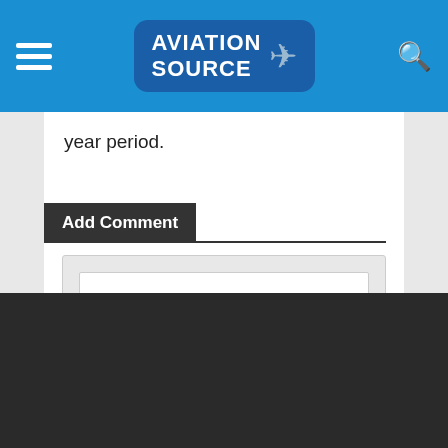Aviation Source
year period.
Add Comment
Click here to post a comment